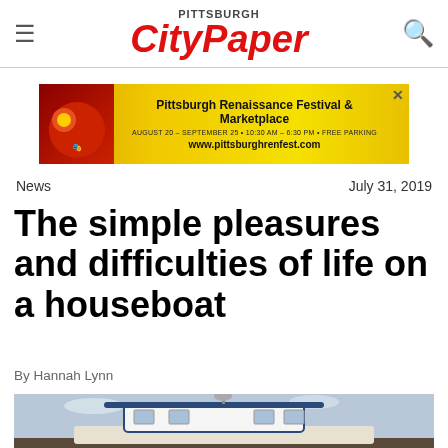Pittsburgh City Paper
[Figure (photo): Pittsburgh Renaissance Festival & Marketplace advertisement banner with yellow background]
News	July 31, 2019
The simple pleasures and difficulties of life on a houseboat
By Hannah Lynn
[Figure (photo): Photo of a houseboat with white cabin, blue stripe roof, and antenna, docked at a marina]